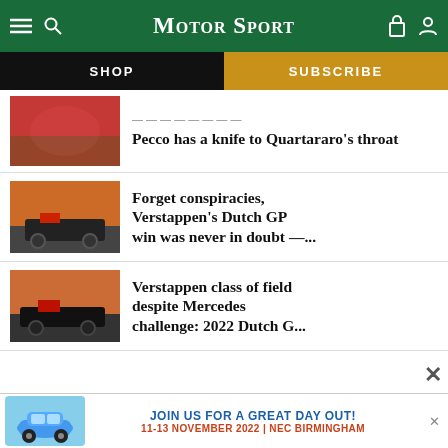Motor Sport
SHOP
SUBSCRIBE
[Figure (photo): Crowd and MotoGP racing scene - article thumbnail for Pecco has a knife to Quartararo's throat]
Pecco has a knife to Quartararo's throat
[Figure (photo): F1 car on track at Dutch GP with orange-clad crowd - article thumbnail for Forget conspiracies, Verstappen's Dutch GP win was never in doubt]
Forget conspiracies, Verstappen's Dutch GP win was never in doubt –...
[Figure (photo): F1 car at Dutch GP with orange crowd - article thumbnail for Verstappen class of field despite Mercedes challenge]
Verstappen class of field despite Mercedes challenge: 2022 Dutch G...
[Figure (photo): Blue Porsche 911 classic car - advertisement image]
JOIN US FOR A GREAT DAY OUT!
11-13 NOVEMBER 2022 | NEC BIRMINGHAM